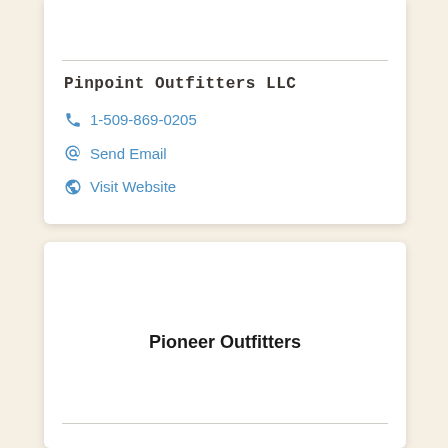Pinpoint Outfitters LLC
📞 1-509-869-0205
@ Send Email
🌐 Visit Website
Pioneer Outfitters